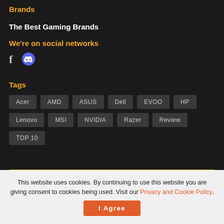Brands
The Best Gaming Brands
We're on social networks
[Figure (illustration): Social media icons: Facebook (f) and Discord]
Tags
Acer
AMD
ASUS
Dell
EVOO
HP
Lenovo
MSI
NVIDIA
Razer
Review
TOP 10
This website uses cookies. By continuing to use this website you are giving consent to cookies being used. Visit our Privacy and Cookie Policy.